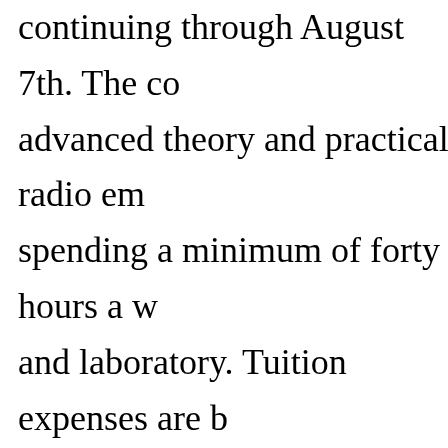continuing through August 7th. The co advanced theory and practical radio em spending a minimum of forty hours a w and laboratory. Tuition expenses are b the student paying his own living expe admission include a degree in electrica minimum of three years' E.E. training The appearances are that all students c will receive a half of for a d